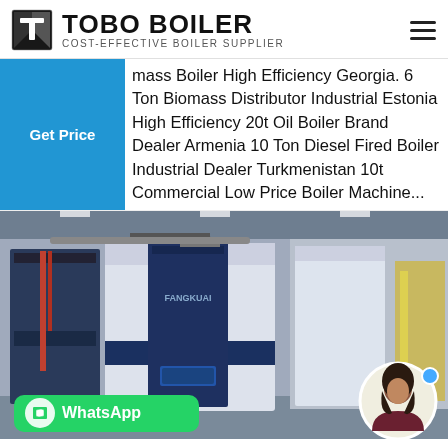TOBO BOILER - COST-EFFECTIVE BOILER SUPPLIER
mass Boiler High Efficiency Georgia. 6 Ton Biomass Distributor Industrial Estonia High Efficiency 20t Oil Boiler Brand Dealer Armenia 10 Ton Diesel Fired Boiler Industrial Dealer Turkmenistan 10t Commercial Low Price Boiler Machine...
[Figure (photo): Industrial boiler room showing large blue and white Fangkuai brand boilers installed in a facility. A WhatsApp contact button is overlaid at the bottom left, and a circular avatar photo of a female customer service representative appears at the bottom right.]
Boiler Machine Industrial 10t For Sale Turkmenistan